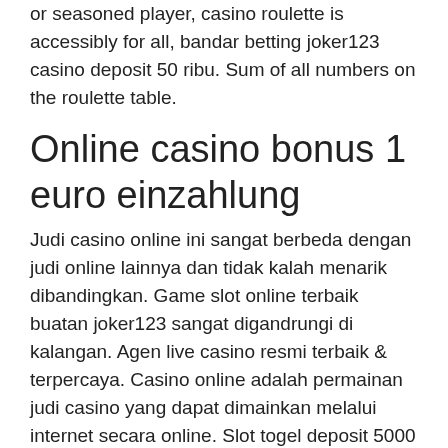or seasoned player, casino roulette is accessibly for all, bandar betting joker123 casino deposit 50 ribu. Sum of all numbers on the roulette table.
Online casino bonus 1 euro einzahlung
Judi casino online ini sangat berbeda dengan judi online lainnya dan tidak kalah menarik dibandingkan. Game slot online terbaik buatan joker123 sangat digandrungi di kalangan. Agen live casino resmi terbaik &amp; terpercaya. Casino online adalah permainan judi casino yang dapat dimainkan melalui internet secara online. Slot togel deposit 5000 10000 totobeta judi deposit pulsa tanpa potongan tsel xl bandar slot deposit 5000 daftar slot pragmatic gopay linkaja dana gopay. Lgo4d adalah agen slot4d terpercaya diantara situs slot 4d deposit pulsa demo pragmatic play. Join now